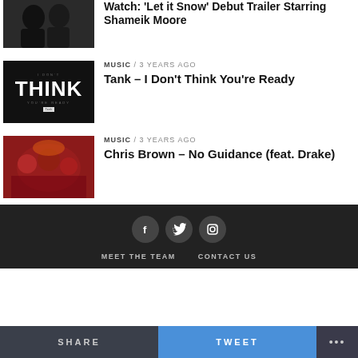[Figure (photo): Thumbnail photo of two people in winter clothes, partial view at top]
Watch: 'Let it Snow' Debut Trailer Starring Shameik Moore
[Figure (photo): Black album cover with the word THINK in large white letters]
MUSIC / 3 years ago
Tank – I Don't Think You're Ready
[Figure (photo): Party scene with people in red outfits]
MUSIC / 3 years ago
Chris Brown – No Guidance (feat. Drake)
[Figure (other): Social media icons: Facebook, Twitter, Instagram in dark circles]
MEET THE TEAM   CONTACT US
SHARE   TWEET   ...